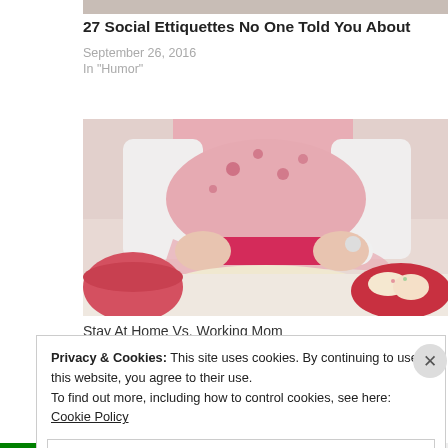[Figure (photo): Partial cropped image at top of page (blog post thumbnail)]
27 Social Ettiquettes No One Told You About
September 26, 2016
In "Humor"
[Figure (photo): Child in pink floral apron rolling cookie dough on a white table, with a pink bowl on the left and a red plate with decorated cookies on the right, holding a red rolling pin.]
Stay At Home Vs. Working Mom
Privacy & Cookies: This site uses cookies. By continuing to use this website, you agree to their use.
To find out more, including how to control cookies, see here: Cookie Policy
Close and accept